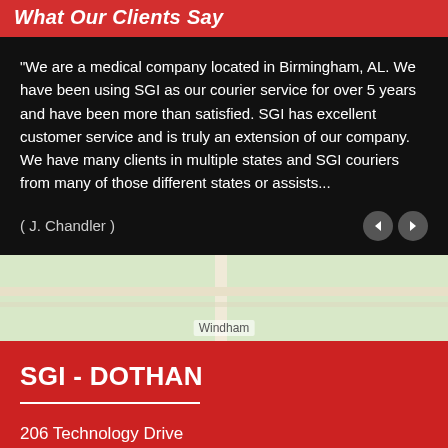What Our Clients Say
"We are a medical company located in Birmingham, AL. We have been using SGI as our courier service for over 5 years and have been more than satisfied. SGI has excellent customer service and is truly an extension of our company. We have many clients in multiple states and SGI couriers from many of those different states or assists...
( J. Chandler )
[Figure (map): Google Maps partial view showing road near Windham area]
SGI - DOTHAN
206 Technology Drive
Dothan, AL 36303
205-941-2575